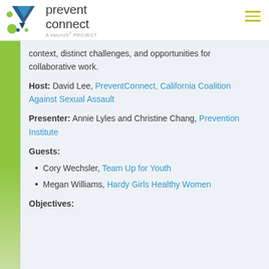[Figure (logo): PreventConnect logo — A ValorUS PROJECT, with geometric shape icon in blue and green]
context, distinct challenges, and opportunities for collaborative work.
Host: David Lee, PreventConnect, California Coalition Against Sexual Assault
Presenter: Annie Lyles and Christine Chang, Prevention Institute
Guests:
Cory Wechsler, Team Up for Youth
Megan Williams, Hardy Girls Healthy Women
Objectives: